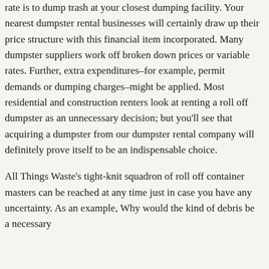rate is to dump trash at your closest dumping facility. Your nearest dumpster rental businesses will certainly draw up their price structure with this financial item incorporated. Many dumpster suppliers work off broken down prices or variable rates. Further, extra expenditures–for example, permit demands or dumping charges–might be applied. Most residential and construction renters look at renting a roll off dumpster as an unnecessary decision; but you'll see that acquiring a dumpster from our dumpster rental company will definitely prove itself to be an indispensable choice.
All Things Waste's tight-knit squadron of roll off container masters can be reached at any time just in case you have any uncertainty. As an example, Why would the kind of debris be a necessary